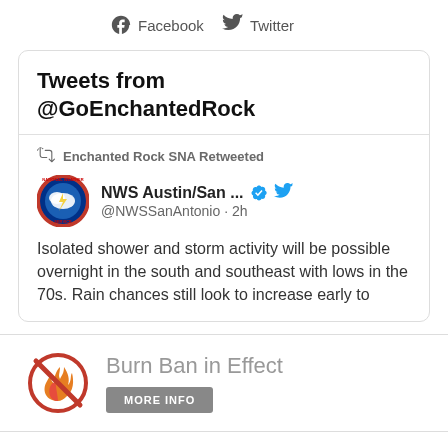Facebook  Twitter
Tweets from @GoEnchantedRock
Enchanted Rock SNA Retweeted
NWS Austin/San ... @NWSSanAntonio · 2h
Isolated shower and storm activity will be possible overnight in the south and southeast with lows in the 70s. Rain chances still look to increase early to
Burn Ban in Effect
MORE INFO
16710 Ranch Rd. 965